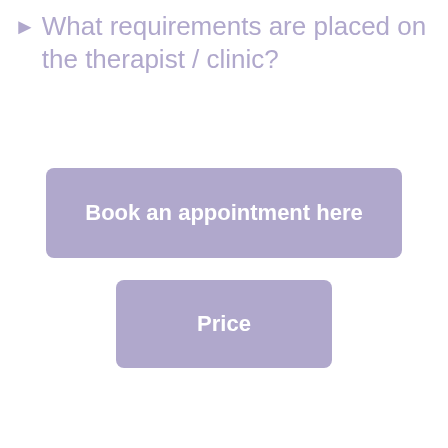▶ What requirements are placed on the therapist / clinic?
Book an appointment here
Price